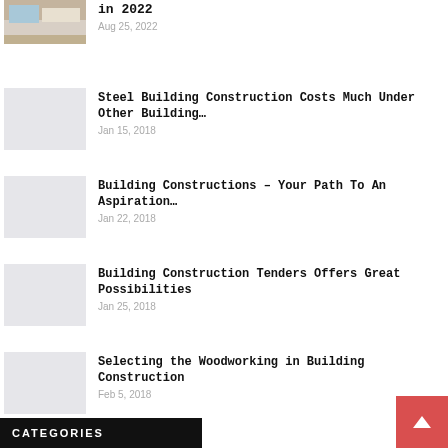[Figure (photo): Kitchen interior photo thumbnail]
in 2022
Aug 25, 2022
[Figure (photo): Gray placeholder thumbnail]
Steel Building Construction Costs Much Under Other Building…
Jan 15, 2018
[Figure (photo): Gray placeholder thumbnail]
Building Constructions – Your Path To An Aspiration…
Jan 22, 2018
[Figure (photo): Gray placeholder thumbnail]
Building Construction Tenders Offers Great Possibilities
Jan 25, 2018
[Figure (photo): Gray placeholder thumbnail]
Selecting the Woodworking in Building Construction
Feb 5, 2018
CATEGORIES